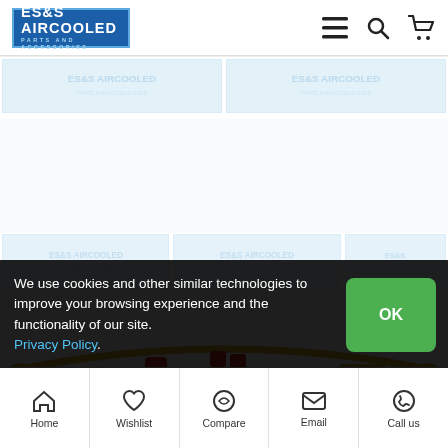[Figure (logo): ES&S Aircooled Parts and Accessories logo in blue box]
[Figure (screenshot): Product page screenshot showing sway bar kit with red polyurethane bushings, gold metal brackets, hardware components laid out on white background with repeated watermark logos]
We use cookies and other similar technologies to improve your browsing experience and the functionality of our site. Privacy Policy.
[Figure (screenshot): Bottom navigation bar with Home, Wishlist, Compare, Email, Call us icons]